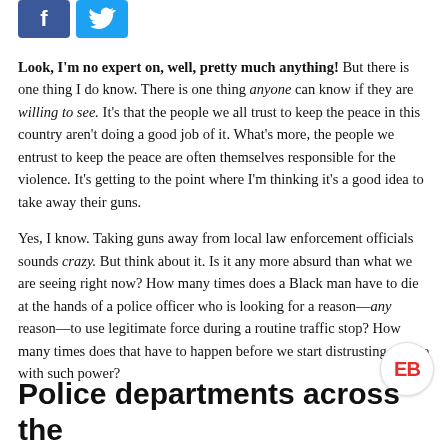[Figure (other): Social media share buttons: Facebook (blue) and Twitter (light blue)]
Look, I'm no expert on, well, pretty much anything! But there is one thing I do know. There is one thing anyone can know if they are willing to see. It's that the people we all trust to keep the peace in this country aren't doing a good job of it. What's more, the people we entrust to keep the peace are often themselves responsible for the violence. It's getting to the point where I'm thinking it's a good idea to take away their guns.
Yes, I know. Taking guns away from local law enforcement officials sounds crazy. But think about it. Is it any more absurd than what we are seeing right now? How many times does a Black man have to die at the hands of a police officer who is looking for a reason—any reason—to use legitimate force during a routine traffic stop? How many times does that have to happen before we start distrusting people with such power?
[Figure (logo): EB logo badge — red letters EB on white circular background]
Police departments across the